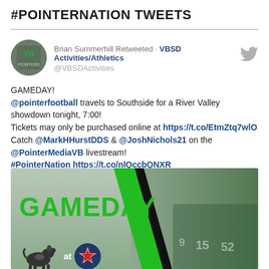#POINTERNATION TWEETS
Brian Summerhill Retweeted · VBSD Activities/Athletics @VBSDActivities
GAMEDAY!
@pointerfootball travels to Southside for a River Valley showdown tonight, 7:00!
Tickets may only be purchased online at https://t.co/EtmZtq7wlO
Catch @MarkHHurstDDS & @JoshNichols21 on the @PointerMediaVB livestream!
#PointerNation https://t.co/nlQccbQNXR
[Figure (photo): Gameday graphic showing green diagonal band with GAMEDAY text, Pointer mascot dog and star logo with 'at' text, and football players in green/white uniforms on right side.]